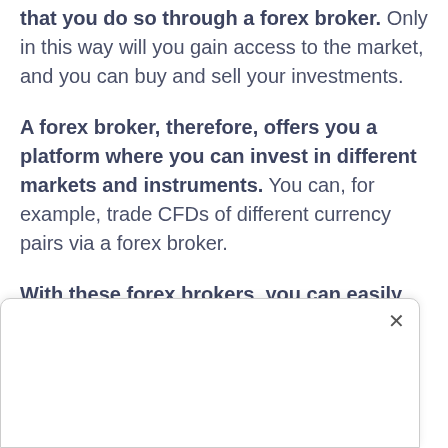that you do so through a forex broker. Only in this way will you gain access to the market, and you can buy and sell your investments.
A forex broker, therefore, offers you a platform where you can invest in different markets and instruments. You can, for example, trade CFDs of different currency pairs via a forex broker.
With these forex brokers, you can easily create an account in almost all cases. Then you often have to verify your identity and link